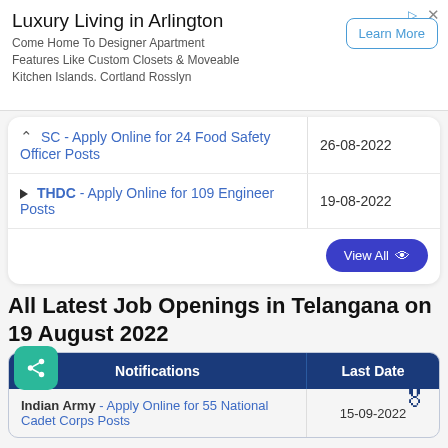[Figure (screenshot): Ad banner: Luxury Living in Arlington with Learn More button]
|  | Last Date |
| --- | --- |
| ↑ SC - Apply Online for 24 Food Safety Officer Posts | 26-08-2022 |
| ▶ THDC - Apply Online for 109 Engineer Posts | 19-08-2022 |
All Latest Job Openings in Telangana on 19 August 2022
| Notifications | Last Date |
| --- | --- |
| Indian Army - Apply Online for 55 National Cadet Corps Posts | 15-09-2022 |